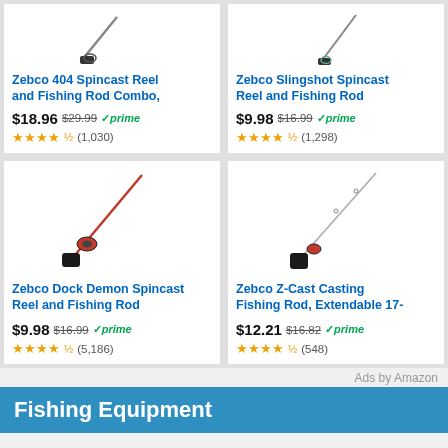[Figure (photo): Zebco 404 Spincast Reel and Fishing Rod product image (top portion, partially cropped)]
Zebco 404 Spincast Reel and Fishing Rod Combo,
$18.96 $29.99 ✓prime
★★★★½ (1,030)
[Figure (photo): Zebco Slingshot Spincast Reel product image (top portion, partially cropped)]
Zebco Slingshot Spincast Reel and Fishing Rod
$9.98 $16.99 ✓prime
★★★★½ (1,298)
[Figure (photo): Zebco Dock Demon Spincast Reel and Fishing Rod - red and black rod with reel attached]
Zebco Dock Demon Spincast Reel and Fishing Rod
$9.98 $16.99 ✓prime
★★★★½ (5,186)
[Figure (photo): Zebco Z-Cast Casting Fishing Rod - black rod, extendable]
Zebco Z-Cast Casting Fishing Rod, Extendable 17-
$12.21 $16.82 ✓prime
★★★★½ (548)
Ads by Amazon
Fishing Equipment